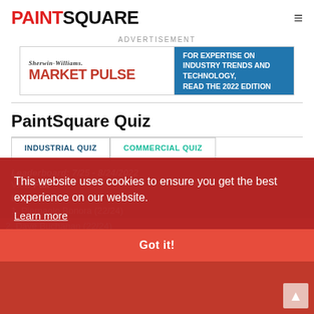PAINTSQUARE
ADVERTISEMENT
[Figure (other): Sherwin-Williams Market Pulse advertisement banner. Left side white background with 'SHERWIN-WILLIAMS.' in italic serif and 'MARKET PULSE' in large red bold text. Right side blue background with white text: 'FOR EXPERTISE ON INDUSTRY TRENDS AND TECHNOLOGY, READ THE 2022 EDITION']
PaintSquare Quiz
INDUSTRIAL QUIZ
COMMERCIAL QUIZ
Leaderboard: 7/25 - 8/24/2022
Full Leaderboard
1. Pierpaolo Bonora (22/24)
2. Dave Buchanan (22/24)
This website uses cookies to ensure you get the best experience on our website.
Learn more
Got it!
Back To Current Quiz